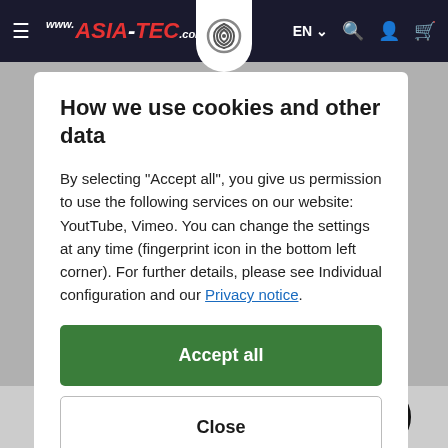[Figure (screenshot): Asia-Tec website navigation bar with hamburger menu, logo, fingerprint icon, EN language selector, search icon, account icon, and cart icon on dark background.]
How we use cookies and other data
By selecting "Accept all", you give us permission to use the following services on our website: YoutTube, Vimeo. You can change the settings at any time (fingerprint icon in the bottom left corner). For further details, please see Individual configuration and our Privacy notice.
Accept all
Close
Configuration
[Figure (photo): Rubber oil seals / o-rings shown in a row at the bottom of the page.]